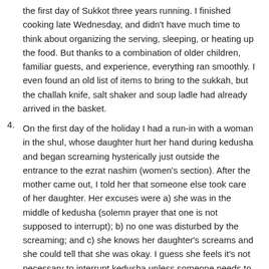the first day of Sukkot three years running. I finished cooking late Wednesday, and didn't have much time to think about organizing the serving, sleeping, or heating up the food. But thanks to a combination of older children, familiar guests, and experience, everything ran smoothly. I even found an old list of items to bring to the sukkah, but the challah knife, salt shaker and soup ladle had already arrived in the basket.
4. On the first day of the holiday I had a run-in with a woman in the shul, whose daughter hurt her hand during kedusha and began screaming hysterically just outside the entrance to the ezrat nashim (women's section). After the mother came out, I told her that someone else took care of her daughter. Her excuses were a) she was in the middle of kedusha (solemn prayer that one is not supposed to interrupt); b) no one was disturbed by the screaming; and c) she knows her daughter's screams and she could tell that she was okay. I guess she feels it's not necessary to interrupt kedusha unless someone needs to go to the emergency room–it still took about ten minutes until the daughter calmed down enough for her mother to go back into the synagogue.
5. My divine retribution for criticizing this mother's neglect of her child came when my 6yo got left in shul and had to be brought home by